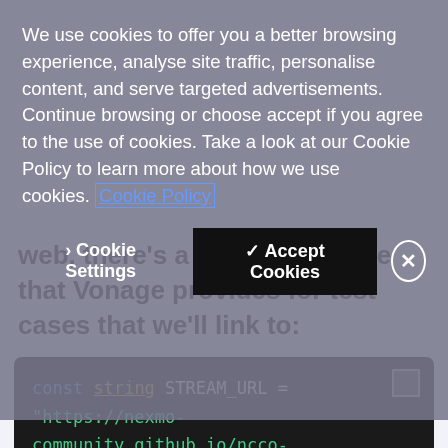web, there's a serviceable one that Vonage provides for test cases that we'll link to:
[Figure (screenshot): Code block showing C# code: const string STREAM_URL = "https://nexmo-community.github.io/ncco-examples/assets/voice_api_audio_str... and private readonly IConfiguration _config;]
We use cookies to offer you a better browsing experience, analyse site traffic, personalise content, and serve targeted advertisements. Continue browsing or choose accept if you agree to the use of cookies. Take a look at our Cookie Policy to learn more about how we use cookies. Cookie Policy